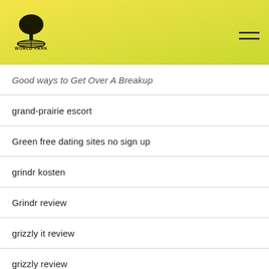WORLD PARK
Good ways to Get Over A Breakup
grand-prairie escort
Green free dating sites no sign up
grindr kosten
Grindr review
grizzly it review
grizzly review
guaranteed approval installment loans
Guardian Soulmates review
guardian-soulmates visitors
handicap love kosten